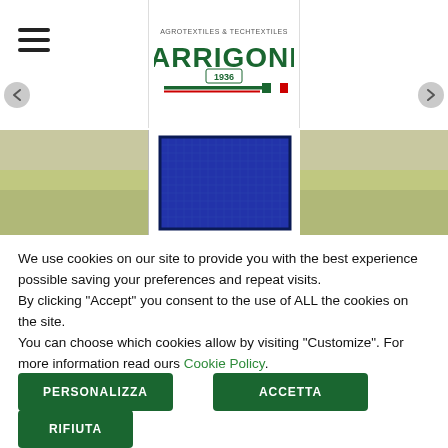[Figure (logo): Arrigoni logo: AGROTEXTILES & TECHTEXTILES text above, green ARRIGONI letters, 1936 badge, red and green lines below]
[Figure (photo): Hero banner showing fields/agricultural landscape with a blue grid textile product displayed in center panel]
We use cookies on our site to provide you with the best experience possible saving your preferences and repeat visits.
By clicking "Accept" you consent to the use of ALL the cookies on the site.
You can choose which cookies allow by visiting "Customize". For more information read ours Cookie Policy.
PERSONALIZZA
ACCETTA
RIFIUTA